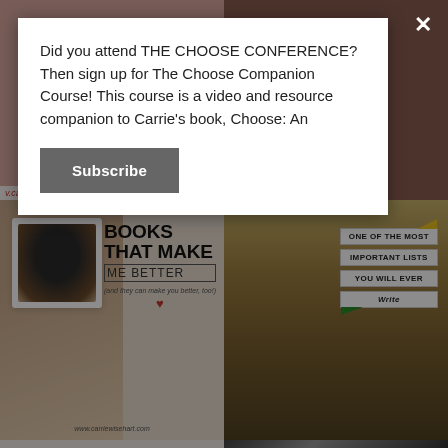Did you attend THE CHOOSE CONFERENCE? Then sign up for The Choose Companion Course! This course is a video and resource companion to Carrie's book, Choose: An
Subscribe
[Figure (photo): Pink/skin-toned background with website URL bar at bottom showing carriewisehart.com]
[Figure (photo): Brown/warm toned close-up of hands]
[Figure (photo): Person holding coffee mug with text overlay: BOOKS THAT MAKE ME BETTER (and they can make you better, too!) www.carriewisehart.com]
[Figure (photo): Outdoor scene with vehicle and road signs: ONE OF THE MOST IMPORTANT LISTS YOU WILL EVER Write]
[Figure (photo): Light/white background image, mostly blank]
[Figure (photo): Black and white close-up of hair/head]